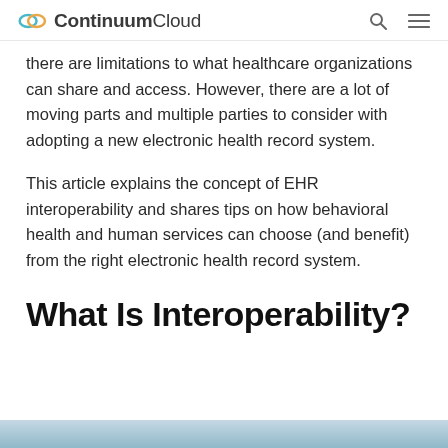ContinuumCloud
there are limitations to what healthcare organizations can share and access. However, there are a lot of moving parts and multiple parties to consider with adopting a new electronic health record system.
This article explains the concept of EHR interoperability and shares tips on how behavioral health and human services can choose (and benefit) from the right electronic health record system.
What Is Interoperability?
[Figure (photo): Partial view of an image at the bottom of the page, appears to be a healthcare or technology related photo]